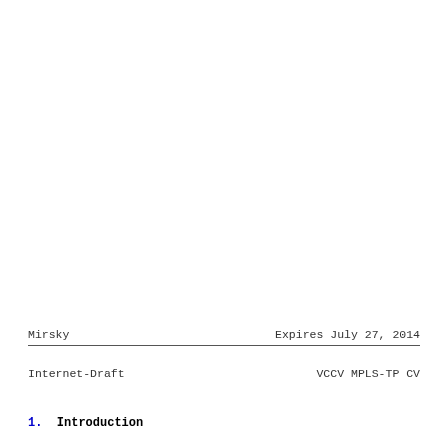Mirsky                          Expires July 27, 2014
Internet-Draft                          VCCV MPLS-TP CV
1.  Introduction